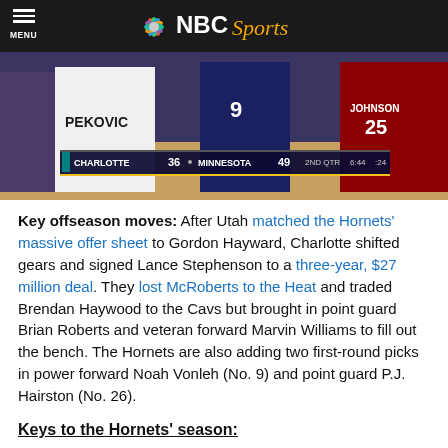MENU | NBC Sports
[Figure (photo): Basketball players on court, scoreboard showing Charlotte 36 Minnesota 49, 2nd QTR 6:44 :24, player wearing Pekovic jersey visible]
Key offseason moves: After Utah matched the Hornets' massive offer sheet to Gordon Hayward, Charlotte shifted gears and signed Lance Stephenson to a three-year, $27 million deal. They lost McRoberts to the Heat and traded Brendan Haywood to the Cavs but brought in point guard Brian Roberts and veteran forward Marvin Williams to fill out the bench. The Hornets are also adding two first-round picks in power forward Noah Vonleh (No. 9) and point guard P.J. Hairston (No. 26).
Keys to the Hornets' season:
Which Lance are they getting? The Hornets' top